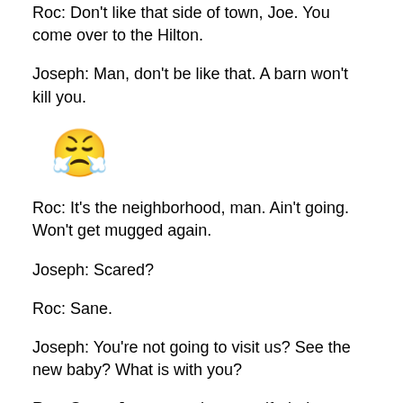Roc: Don't like that side of town, Joe.  You come over to the Hilton.
Joseph: Man, don't be like that.  A barn won't kill you.
[Figure (illustration): Angry/pouty face emoji]
Roc: It's the neighborhood, man.  Ain't going.  Won't get mugged again.
Joseph: Scared?
Roc: Sane.
Joseph: You're not going to visit us?  See the new baby?  What is with you?
Roc: Sane.  Just protecting myself, dude.
Roc: Let me know how the birth goes.  Hi to Mary.  What's